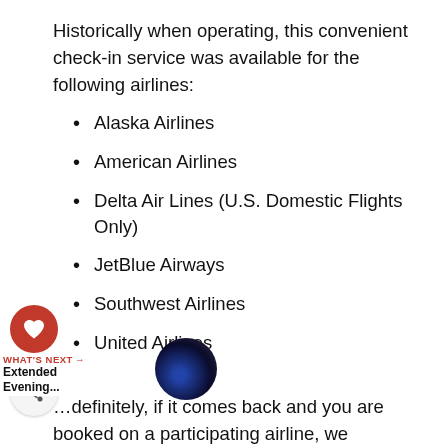Historically when operating, this convenient check-in service was available for the following airlines:
Alaska Airlines
American Airlines
Delta Air Lines (U.S. Domestic Flights Only)
JetBlue Airways
Southwest Airlines
United Airlines
...definitely, if it comes back and you are booked on a participating airline, we